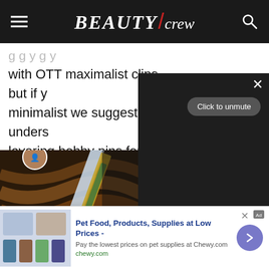BEAUTY/crew
with OTT maximalist clips, but if y minimalist we suggest an unders layering bobby pins for a classic
[Figure (screenshot): Dark video overlay panel with close (X) button, 'Click to unmute' button, and pause icon at bottom center]
[Figure (photo): Close-up photo of a decorative hair clip/bobby pin against brown hair, with a dark background]
Pet Food, Products, Supplies at Low Prices - Pay the lowest prices on pet supplies at Chewy.com chewy.com